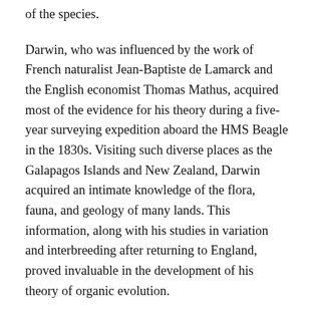of the species.
Darwin, who was influenced by the work of French naturalist Jean-Baptiste de Lamarck and the English economist Thomas Mathus, acquired most of the evidence for his theory during a five-year surveying expedition aboard the HMS Beagle in the 1830s. Visiting such diverse places as the Galapagos Islands and New Zealand, Darwin acquired an intimate knowledge of the flora, fauna, and geology of many lands. This information, along with his studies in variation and interbreeding after returning to England, proved invaluable in the development of his theory of organic evolution.
The idea of organic evolution was not new. It had been suggested earlier by, among others, Darwin's grandfather Erasmus Darwin, a distinguished English scientist, and Lamarck, who in the early 19th century